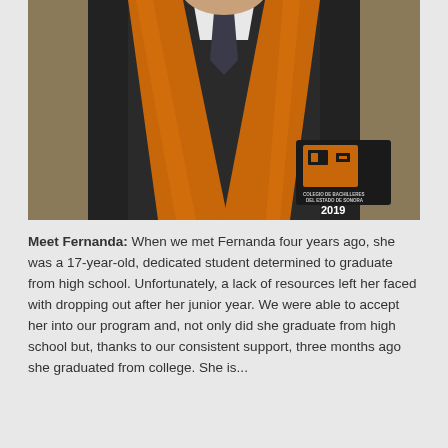[Figure (photo): Graduation photo of a person wearing a black academic gown with an orange sash/stole. The stole has a crest/logo that reads 'COLEGIO DE BACHILLERES DEL ESTADO DE SONORA' with the year 2019. The person is wearing a white shirt and dark tie underneath.]
Meet Fernanda: When we met Fernanda four years ago, she was a 17-year-old, dedicated student determined to graduate from high school. Unfortunately, a lack of resources left her faced with dropping out after her junior year. We were able to accept her into our program and, not only did she graduate from high school but, thanks to our consistent support, three months ago she graduated from college. She is...